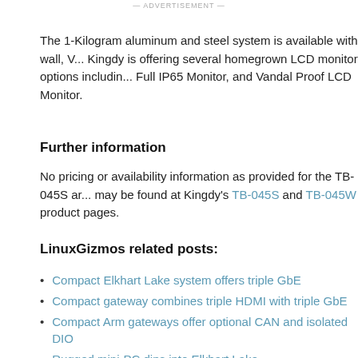— ADVERTISEMENT —
The 1-Kilogram aluminum and steel system is available with wall, V... Kingdy is offering several homegrown LCD monitor options including... Full IP65 Monitor, and Vandal Proof LCD Monitor.
Further information
No pricing or availability information as provided for the TB-045S and... may be found at Kingdy's TB-045S and TB-045W product pages.
LinuxGizmos related posts:
Compact Elkhart Lake system offers triple GbE
Compact gateway combines triple HDMI with triple GbE
Compact Arm gateways offer optional CAN and isolated DIO
Rugged mini-PC dips into Elkhart Lake
Rugged Apollo Lake computer has four mini-PCIe-based...
Compact Whiskey Lake system offers optional dual-CAN mo...
i.MX8M Mini SBC aims for industrial HMI